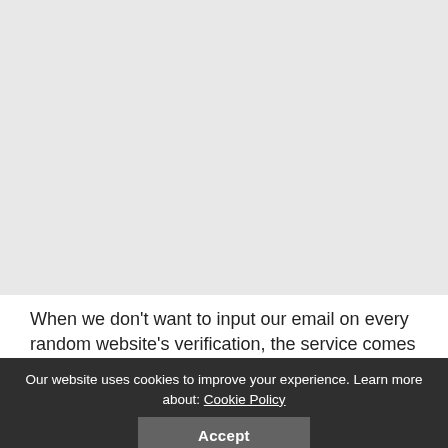[Figure (other): Large light gray blank area occupying the top portion of the page]
When we don’t want to input our email on every random website’s verification, the service comes in handy. No
Our website uses cookies to improve your experience. Learn more about: Cookie Policy
Accept